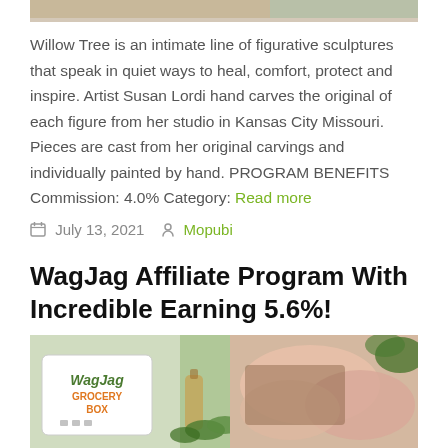[Figure (photo): Top portion of a product image, cropped — showing partial figurative sculptures or decorative items]
Willow Tree is an intimate line of figurative sculptures that speak in quiet ways to heal, comfort, protect and inspire. Artist Susan Lordi hand carves the original of each figure from her studio in Kansas City Missouri. Pieces are cast from her original carvings and individually painted by hand. PROGRAM BENEFITS Commission: 4.0% Category: Read more
July 13, 2021   Mopubi
WagJag Affiliate Program With Incredible Earning 5.6%!
[Figure (photo): WagJag Grocery Box packaging on the left and raw chicken/meat on a cutting board with herbs and oil on the right]